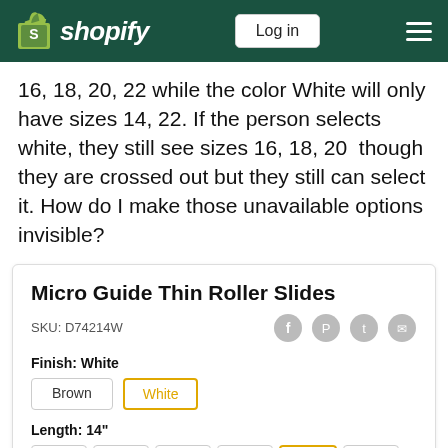Shopify — Log in
16, 18, 20, 22 while the color White will only have sizes 14, 22. If the person selects white, they still see sizes 16, 18, 20 though they are crossed out but they still can select it. How do I make those unavailable options invisible?
[Figure (screenshot): Shopify product page screenshot showing Micro Guide Thin Roller Slides product with SKU D74214W, Finish selector (Brown/White with White selected), and Length selector (14", 16", 18", 20" crossed out, 14" selected in yellow, 22" available)]